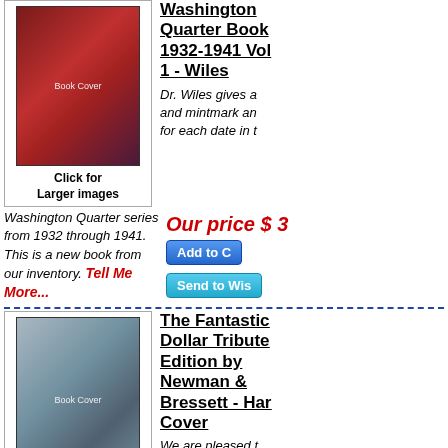[Figure (photo): Book cover for Washington Quarter Book 1932-1941 Vol 1 by Wiles]
Click for Larger images
Washington Quarter Book 1932-1941 Vol 1 - Wiles
Dr. Wiles gives a and mintmark an for each date in t
Our price $ 3
Add to C
Send to Wis
Washington Quarter series from 1932 through 1941. This is a new book from our inventory. Tell Me More...
[Figure (photo): Book cover for The Fantastic Dollar Tribute Edition by Newman & Bressett - Hard Cover]
Click for Larger images
The Fantastic Dollar Tribute Edition by Newman & Bressett - Hard Cover
We are pleased t
offer for sale The Fantastic 1804 Dollar Tribute Edition
Retail: $ 1
Our price: $ 1
Add to C
Send to Wi